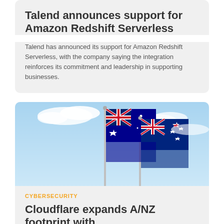Talend announces support for Amazon Redshift Serverless
Talend has announced its support for Amazon Redshift Serverless, with the company saying the integration reinforces its commitment and leadership in supporting businesses.
[Figure (photo): Photo of Australian and New Zealand flags on flagpoles against a light blue cloudy sky]
CYBERSECURITY
Cloudflare expands A/NZ footprint with